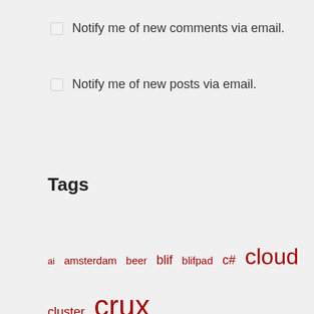Notify me of new comments via email.
Notify me of new posts via email.
Tags
ai  amsterdam  beer  blif  blifpad  c#  cloud  cluster  crux  crux-ppc  cuda  edge  edge-cloud  emacs  Fedora  functional programming  gnu  gpgpu  gpu  groovy  gtk  gvirtus